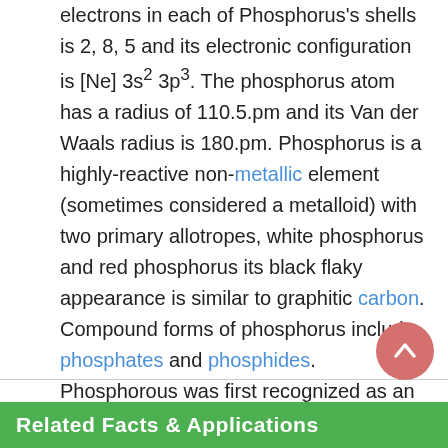electrons in each of Phosphorus's shells is 2, 8, 5 and its electronic configuration is [Ne] 3s2 3p3. The phosphorus atom has a radius of 110.5.pm and its Van der Waals radius is 180.pm. Phosphorus is a highly-reactive non-metallic element (sometimes considered a metalloid) with two primary allotropes, white phosphorus and red phosphorus its black flaky appearance is similar to graphitic carbon. Compound forms of phosphorus include phosphates and phosphides. Phosphorous was first recognized as an element by Hennig Brand in 1669 its name (phosphorus mirabilis, or "bearer of light") was inspired from the brilliant glow emitted by its distillation.
Related Facts & Applications